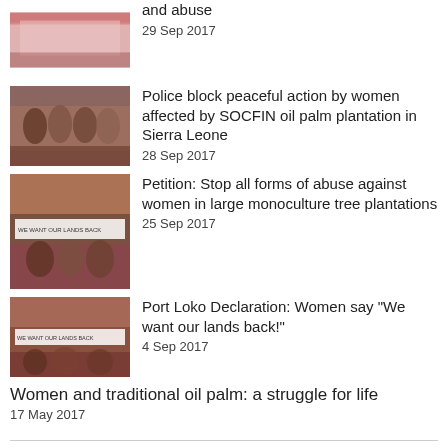[Figure (photo): Photo of women at an event with pink/white draping, partially cut off at top]
and abuse
29 Sep 2017
[Figure (photo): Photo of group of women gathered outdoors]
Police block peaceful action by women affected by SOCFIN oil palm plantation in Sierra Leone
28 Sep 2017
[Figure (photo): Photo of women holding banner 'WE WANT OUR LANDS BACK']
Petition: Stop all forms of abuse against women in large monoculture tree plantations
25 Sep 2017
[Figure (photo): Photo of women holding banner 'WE WANT OUR LANDS BACK']
Port Loko Declaration: Women say "We want our lands back!"
4 Sep 2017
Women and traditional oil palm: a struggle for life
17 May 2017
sister sites   other languages